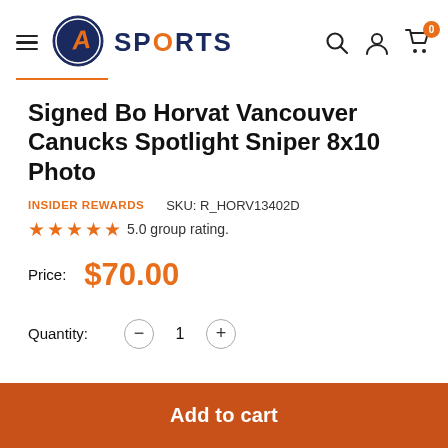[Figure (logo): AT Sports logo with navy circle, stylized A letter in orange, SPORTS text in navy]
Signed Bo Horvat Vancouver Canucks Spotlight Sniper 8x10 Photo
INSIDER REWARDS   SKU: R_HORV13402D
★★★★★ 5.0 group rating.
Price: $70.00
Quantity: − 1 +
Add to cart